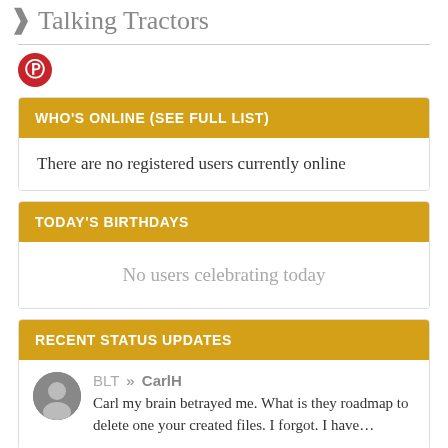Talking Tractors
WHO'S ONLINE (SEE FULL LIST)
There are no registered users currently online
TODAY'S BIRTHDAYS
No users celebrating today
RECENT STATUS UPDATES
BLT » CarlH
Carl my brain betrayed me. What is they roadmap to delete one your created files. I forgot. I have...